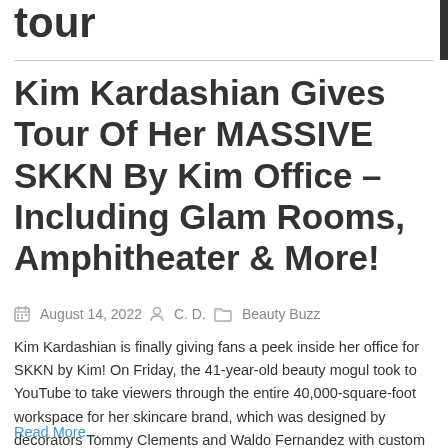tour
Kim Kardashian Gives Tour Of Her MASSIVE SKKN By Kim Office – Including Glam Rooms, Amphitheater & More!
August 14, 2022   C. D.   Beauty Buzz
Kim Kardashian is finally giving fans a peek inside her office for SKKN by Kim! On Friday, the 41-year-old beauty mogul took to YouTube to take viewers through the entire 40,000-square-foot workspace for her skincare brand, which was designed by decorators Tommy Clements and Waldo Fernandez with custom furniture from Rick Owens' Michele Lamy. Similar [...]
Read More...